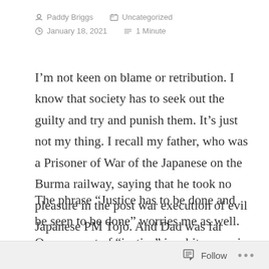Paddy Briggs   Uncategorized
January 18, 2021   1 Minute
I’m not keen on blame or retribution. I know that society has to seek out the guilty and try and punish them. It’s just not my thing. I recall my father, who was a Prisoner of War of the Japanese on the Burma railway, saying that he took no pleasure in the post war execution of evil Japanese PM Tojo. And Dad was far from bring a wishy-washy liberal !
The phrase “Justice has to be done and be seen to be done” worries me as well. Our concept of “justice” is arbitrary as is our concept of what punishment, if any, is